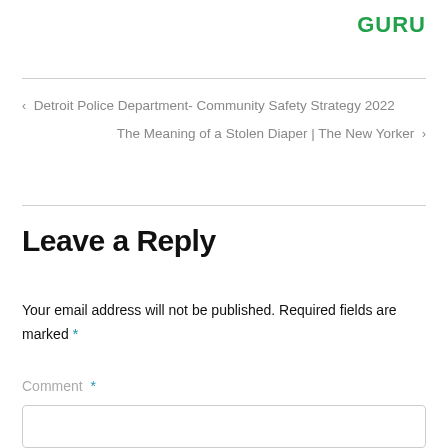[Figure (logo): GURU logo in green bold uppercase text]
< Detroit Police Department- Community Safety Strategy 2022
The Meaning of a Stolen Diaper | The New Yorker >
Leave a Reply
Your email address will not be published. Required fields are marked *
Comment *